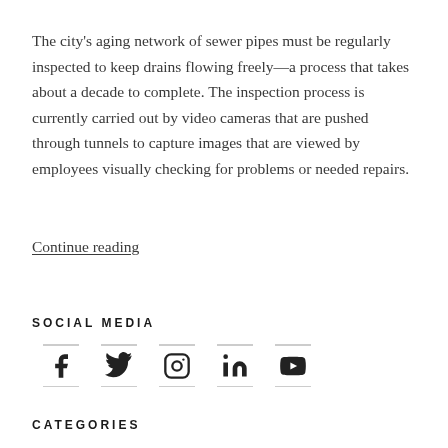The city's aging network of sewer pipes must be regularly inspected to keep drains flowing freely—a process that takes about a decade to complete. The inspection process is currently carried out by video cameras that are pushed through tunnels to capture images that are viewed by employees visually checking for problems or needed repairs.
Continue reading
SOCIAL MEDIA
[Figure (other): Social media icons: Facebook, Twitter, Instagram, LinkedIn, YouTube]
CATEGORIES